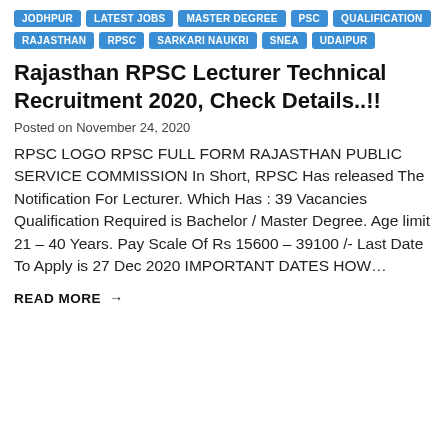JODHPUR | LATEST JOBS | MASTER DEGREE | PSC | QUALIFICATION | RAJASTHAN | RPSC | SARKARI NAUKRI | SNEA | UDAIPUR
Rajasthan RPSC Lecturer Technical Recruitment 2020, Check Details..!!
Posted on November 24, 2020
RPSC LOGO RPSC FULL FORM RAJASTHAN PUBLIC SERVICE COMMISSION In Short, RPSC Has released The Notification For Lecturer. Which Has : 39 Vacancies Qualification Required is Bachelor / Master Degree. Age limit 21 – 40 Years. Pay Scale Of Rs 15600 – 39100 /- Last Date To Apply is 27 Dec 2020 IMPORTANT DATES HOW…
READ MORE →